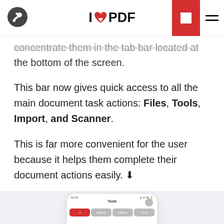I❤PDF
concentrate them in the tab bar located at the bottom of the screen.
This bar now gives quick access to all the main document task actions: Files, Tools, Import, and Scanner.
This is far more convenient for the user because it helps them complete their document actions easily. ↓
[Figure (screenshot): Screenshot of iLovePDF mobile app showing the Tools tab with navigation bar at the bottom containing Files, Tools, Scanner, and Cancel options.]